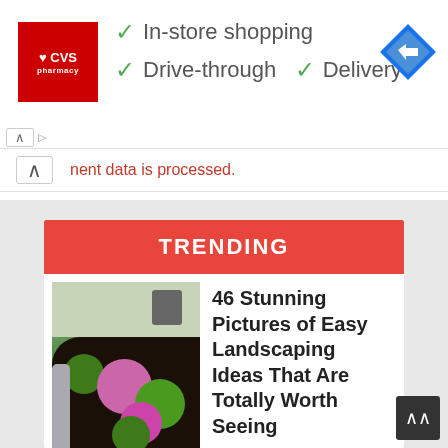[Figure (logo): CVS Pharmacy red logo square with heart symbol]
✓ In-store shopping
✓ Drive-through  ✓ Delivery
[Figure (other): Google Maps blue diamond direction arrow icon]
nent data is processed.
TRENDING
[Figure (photo): Garden landscaping with mulch bed, flowering bushes, and stone border]
46 Stunning Pictures of Easy Landscaping Ideas That Are Totally Worth Seeing